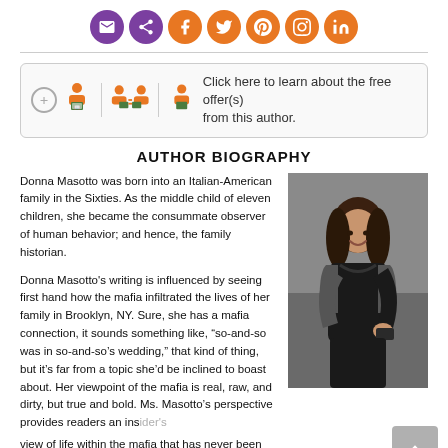[Figure (infographic): Row of social media sharing icons (email, share, Facebook, Twitter, Pinterest, Instagram, LinkedIn) as circular buttons in purple and orange]
[Figure (infographic): Clickable author offer box with icons showing a person with a book, two people exchanging books, and a person reading, with text: Click here to learn about the free offer(s) from this author.]
AUTHOR BIOGRAPHY
Donna Masotto was born into an Italian-American family in the Sixties. As the middle child of eleven children, she became the consummate observer of human behavior; and hence, the family historian.
Donna Masotto's writing is influenced by seeing first hand how the mafia infiltrated the lives of her family in Brooklyn, NY. Sure, she has a mafia connection, it sounds something like, “so-and-so was in so-and-so’s wedding,” that kind of thing, but it’s far from a topic she’d be inclined to boast about. Her viewpoint of the mafia is real, raw, and dirty, but true and bold. Ms. Masotto's perspective provides readers an insider’s view of life within the mafia that has never been told before. Crime isn’t
[Figure (photo): Headshot photo of Donna Masotto, a smiling woman with long brown hair wearing a black outfit with a grey jacket, photographed outdoors]